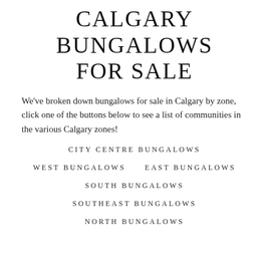CALGARY BUNGALOWS FOR SALE
We've broken down bungalows for sale in Calgary by zone, click one of the buttons below to see a list of communities in the various Calgary zones!
CITY CENTRE BUNGALOWS
WEST BUNGALOWS
EAST BUNGALOWS
SOUTH BUNGALOWS
SOUTHEAST BUNGALOWS
NORTH BUNGALOWS